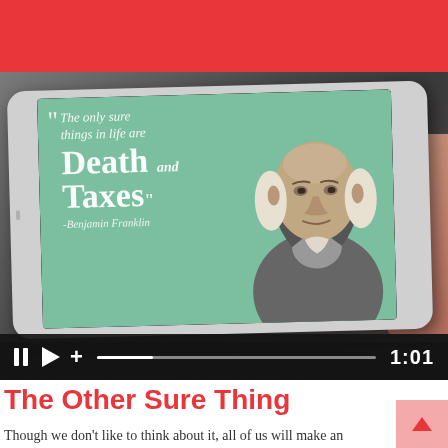[Figure (screenshot): A tablet device displaying a Benjamin Franklin quote on a green background: '"The only sure things in life are Death and Taxes" -Benjamin Franklin', alongside a portrait illustration of Benjamin Franklin. The image is shown as a video with playback controls showing pause, play, volume, a progress bar, and timestamp 1:01.]
The Other Sure Thing
Though we don't like to think about it, all of us will make an